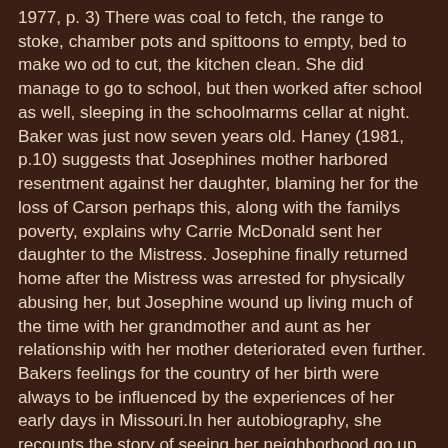1977, p. 3) There was coal to fetch, the range to stoke, chamber pots and spittoons to empty, bed to make wo od to cut, the kitchen clean. She did manage to go to school, but then worked after school as well, sleeping in the schoolmarms cellar at night. Baker was just now seven years old. Haney (1981, p.10) suggests that Josephines mother harbored resentment against her daughter, blaming her for the loss of Carson perhaps this, along with the familys poverty, explains why Carrie McDonald sent her daughter to the Mistress. Josephine finally returned home after the Mistress was arrested for physically abusing her, but Josephine wound up living much of the time with her grandmother and aunt as her relationship with her mother deteriorated even further. Bakers feelings for the country of her birth were always to be influenced by the experiences of her early days in Missouri.In her autobiography, she recounts the story of seeing her neighborhood go up in flames and seeing a black man beaten when whites decided to visit the alleged rape of a white woman in July of 1917. Upon going away her house to find the conflagration, Baker said she thought she was looking at the Apocalypse (1977, p. 2). Jean-Claude Baker and Chase (1993, p. 30) reject